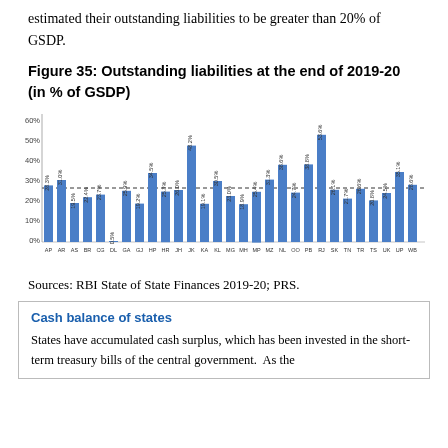estimated their outstanding liabilities to be greater than 20% of GSDP.
Figure 35: Outstanding liabilities at the end of 2019-20 (in % of GSDP)
[Figure (bar-chart): Outstanding liabilities at the end of 2019-20 (in % of GSDP)]
Sources: RBI State of State Finances 2019-20; PRS.
Cash balance of states
States have accumulated cash surplus, which has been invested in the short-term treasury bills of the central government.  As the